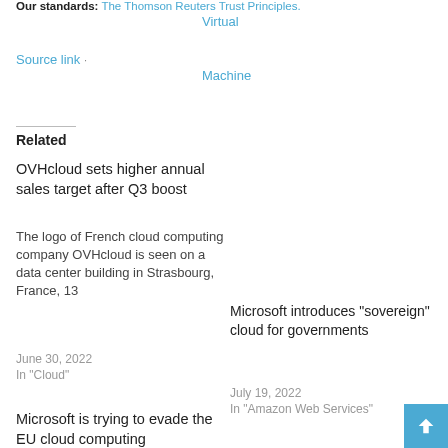Our standards: The Thomson Reuters Trust Principles. Virtual Machine
Source link
Related
OVHcloud sets higher annual sales target after Q3 boost
The logo of French cloud computing company OVHcloud is seen on a data center building in Strasbourg, France, 13
June 30, 2022
In "Cloud"
Microsoft introduces “sovereign” cloud for governments
July 19, 2022
In "Amazon Web Services"
Microsoft is trying to evade the EU cloud computing investigation with changes